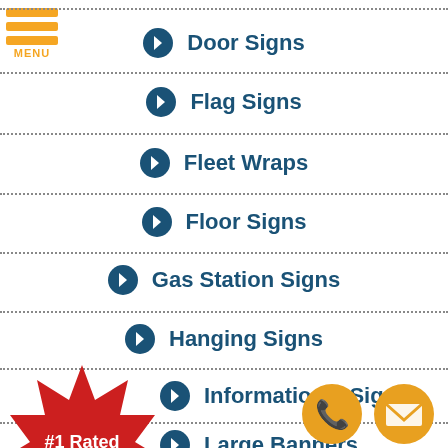[Figure (logo): Orange hamburger menu icon with three horizontal bars and MENU text]
Door Signs
Flag Signs
Fleet Wraps
Floor Signs
Gas Station Signs
Hanging Signs
Informational Signs
Large Banners
[Figure (illustration): Red starburst badge with white text reading #1 Rated Vehicle Wraps]
[Figure (illustration): Orange phone icon circle button]
[Figure (illustration): Orange email/envelope icon circle button]